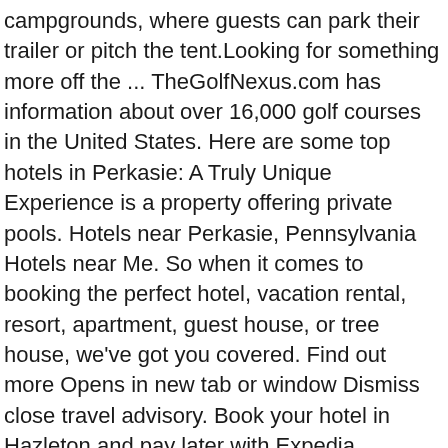campgrounds, where guests can park their trailer or pitch the tent.Looking for something more off the ... TheGolfNexus.com has information about over 16,000 golf courses in the United States. Here are some top hotels in Perkasie: A Truly Unique Experience is a property offering private pools. Hotels near Perkasie, Pennsylvania Hotels near Me. So when it comes to booking the perfect hotel, vacation rental, resort, apartment, guest house, or tree house, we've got you covered. Find out more Opens in new tab or window Dismiss close travel advisory. Book your hotel in Hazleton and pay later with Expedia. Includes The Lake House Inn Reviews, maps & directions to The Lake House Inn in Perkasie and more from Yahoo US Local . Enter a destination or property name. The Lake House Inn offers couples an array of event spaces in the heart of Pennsylvania's Nockamixon State Park. Whether you are looking to host a wedding or a company retreat, the Inn is the perfect destination for making your plans a reality. Bed and Breakfasts in Perkasie, PA. Search the best inns in Perkasie, including online